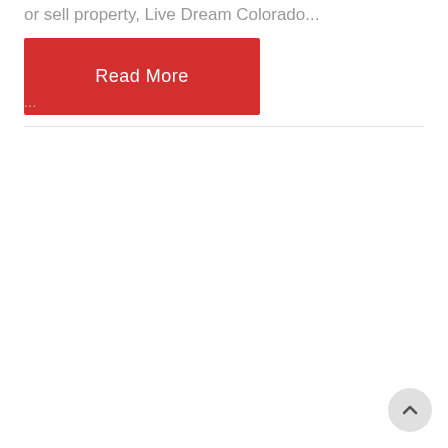or sell property, Live Dream Colorado...
[Figure (other): Red 'Read More' button]
[Figure (other): Back to top circular button with upward chevron arrow]